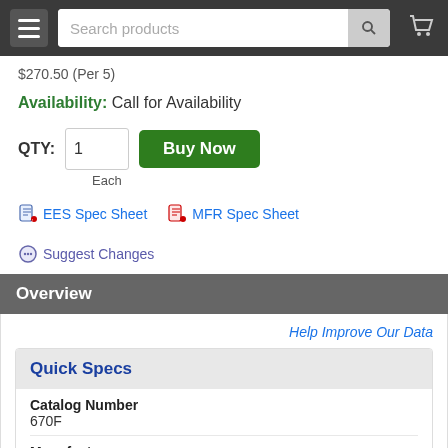Search products [search bar with magnifier] [cart icon]
$270.50 (Per 5)
Availability: Call for Availability
QTY: 1  Buy Now
Each
EES Spec Sheet   MFR Spec Sheet   Suggest Changes
Overview
Help Improve Our Data
Quick Specs
Catalog Number
670F
Manufacturer
Eaton